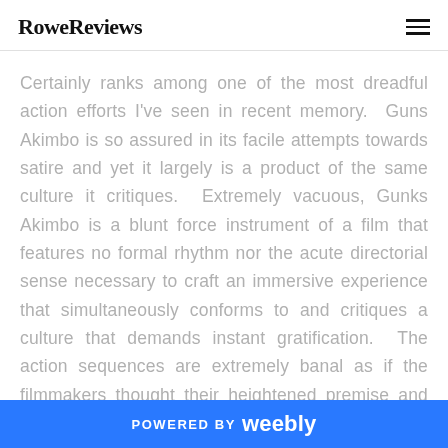RoweReviews
Certainly ranks among one of the most dreadful action efforts I've seen in recent memory.  Guns Akimbo is so assured in its facile attempts towards satire and yet it largely is a product of the same culture it critiques.  Extremely vacuous, Gunks Akimbo is a blunt force instrument of a film that features no formal rhythm nor the acute directorial sense necessary to craft an immersive experience that simultaneously conforms to and critiques a culture that demands instant gratification.  The action sequences are extremely banal as if the filmmakers thought their heightened premise and pop-pastiche kinetics would be enough, but
POWERED BY weebly